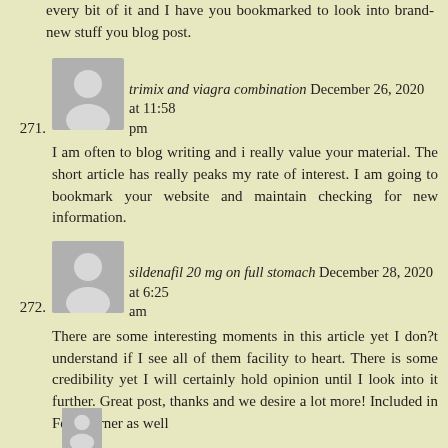every bit of it and I have you bookmarked to look into brand-new stuff you blog post.
271. trimix and viagra combination December 26, 2020 at 11:58 pm
I am often to blog writing and i really value your material. The short article has really peaks my rate of interest. I am going to bookmark your website and maintain checking for new information.
272. sildenafil 20 mg on full stomach December 28, 2020 at 6:25 am
There are some interesting moments in this article yet I don?t understand if I see all of them facility to heart. There is some credibility yet I will certainly hold opinion until I look into it further. Great post, thanks and we desire a lot more! Included in FeedBurner as well